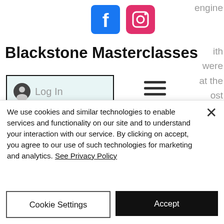[Figure (logo): Facebook logo icon (blue square with white f)]
[Figure (logo): Instagram logo icon (pink/magenta square with camera outline)]
Blackstone Masterclasses
[Figure (illustration): Log In button with user account icon and teal background]
[Figure (illustration): Hamburger menu icon (three horizontal lines)]
[Figure (illustration): Yellow shopping bag icon with a 0 on it]
together, we have what is called a reverse dictionary search in Google. To make such a search in Google, we used the Google
We use cookies and similar technologies to enable services and functionality on our site and to understand your interaction with our service. By clicking on accept, you agree to our use of such technologies for marketing and analytics. See Privacy Policy
Cookie Settings
Accept